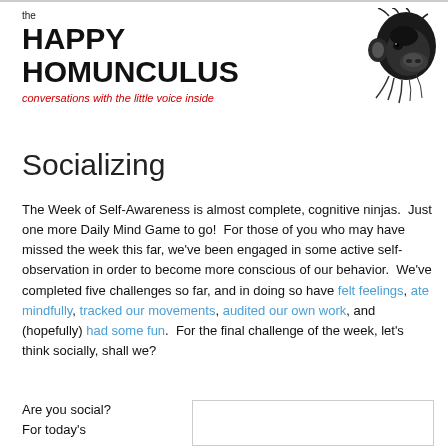[Figure (illustration): Illustration of a chimpanzee head in profile, facing left, black and white drawing]
the HAPPY HOMUNCULUS
conversations with the little voice inside
Socializing
The Week of Self-Awareness is almost complete, cognitive ninjas.  Just one more Daily Mind Game to go!  For those of you who may have missed the week this far, we've been engaged in some active self-observation in order to become more conscious of our behavior.  We've completed five challenges so far, and in doing so have felt feelings, ate mindfully, tracked our movements, audited our own work, and (hopefully) had some fun.  For the final challenge of the week, let's think socially, shall we?
Are you social?
For today's